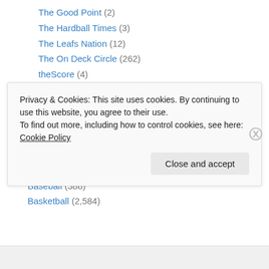The Good Point (2)
The Hardball Times (3)
The Leafs Nation (12)
The On Deck Circle (262)
theScore (4)
TSN (126)
UBC Thunderbirds (91)
Vice (108)
Voices of Wrestling (5)
Yahoo (18)
Sport (3,415)
Baseball (388)
Basketball (2,584)
Privacy & Cookies: This site uses cookies. By continuing to use this website, you agree to their use. To find out more, including how to control cookies, see here: Cookie Policy
Close and accept